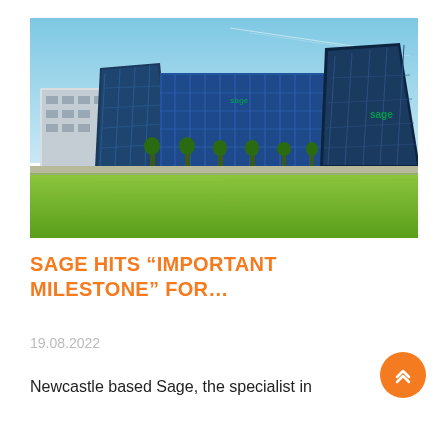[Figure (photo): Exterior photo of the Sage Group headquarters building in Newcastle — a modern glass-and-steel structure with distinctive angular dark-blue facades, set against a clear blue sky, with a green lawn in the foreground and trees lining the building perimeter.]
SAGE HITS “IMPORTANT MILESTONE” FOR…
19.08.2022
Newcastle based Sage, the specialist in